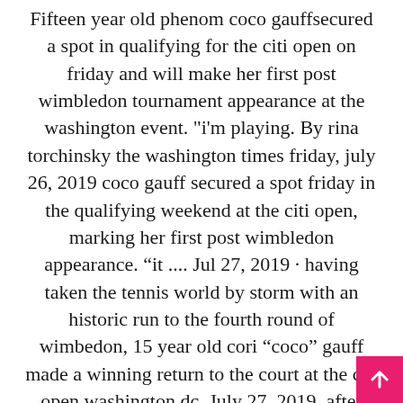Fifteen year old phenom coco gauff secured a spot in qualifying for the citi open on friday and will make her first post wimbledon tournament appearance at the washington event. "i'm playing. By rina torchinsky the washington times friday, july 26, 2019 coco gauff secured a spot friday in the qualifying weekend at the citi open, marking her first post wimbledon appearance. “it .... Jul 27, 2019 · having taken the tennis world by storm with an historic run to the fourth round of wimbedon, 15 year old cori “coco” gauff made a winning return to the court at the citi open washington dc. July 27, 2019. after cori